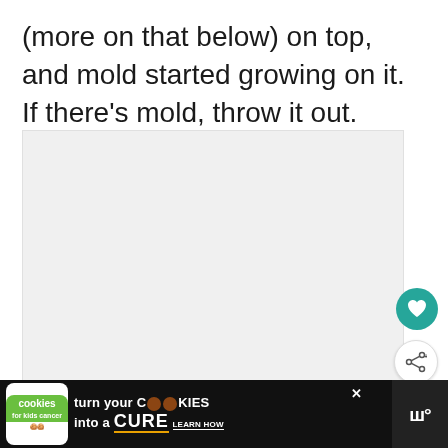(more on that below) on top, and mold started growing on it. If there's mold, throw it out.
[Figure (other): Gray placeholder image area with a heart (favorite) button and a share button overlaid on the right side, and a 'What's Next' card showing 'Can Coconut Water Go...' in the bottom right corner.]